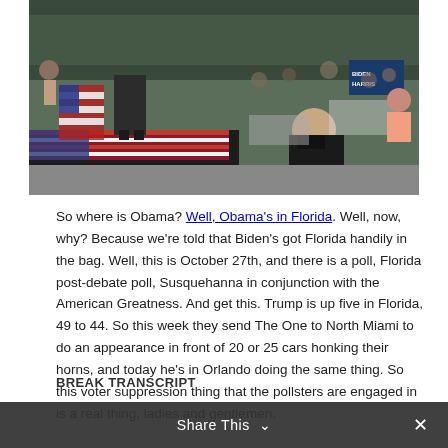[Figure (photo): Outdoor political rally scene. A person stands on a stage with American flag draped on the front. A crowd with cars is visible. A security person wearing a black mask is seated near the stage. A Biden-Harris campaign sign is visible in the background.]
So where is Obama? Well, Obama's in Florida. Well, now, why? Because we're told that Biden's got Florida handily in the bag. Well, this is October 27th, and there is a poll, Florida post-debate poll, Susquehanna in conjunction with the American Greatness. And get this. Trump is up five in Florida, 49 to 44. So this week they send The One to North Miami to do an appearance in front of 20 or 25 cars honking their horns, and today he's in Orlando doing the same thing. So this voter suppression thing that the pollsters are engaged in is a real thing, ladies and gentlemen.
BREAK TRANSCRIPT
Share This ∨  ×